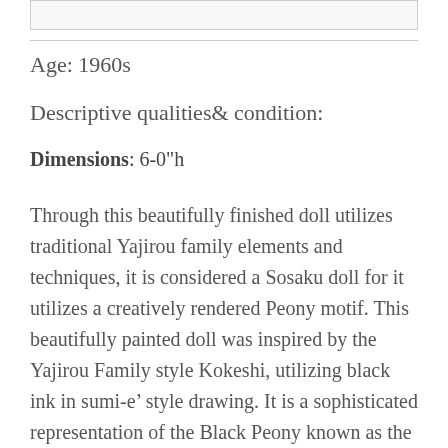[Figure (photo): Empty image placeholder box at the top of the page]
Age: 1960s
Descriptive qualities& condition:
Dimensions: 6-0"h
Through this beautifully finished doll utilizes traditional Yajirou family elements and techniques, it is considered a Sosaku doll for it utilizes a creatively rendered Peony motif. This beautifully painted doll was inspired by the Yajirou Family style Kokeshi, utilizing black ink in sumi-e’ style drawing. It is a sophisticated representation of the Black Peony known as the “Prime Minister of Flower”. The entire figure is painted in black